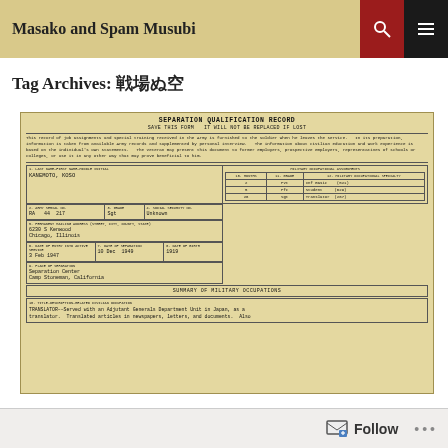Masako and Spam Musubi
Tag Archives: 戦場ぬ空
[Figure (photo): Scanned U.S. Army Separation Qualification Record for KANEMOTO, KOSO. Serial number RA 44 217, Grade Sgt, Social Security Unknown. Address: 6230 S Kenwood, Chicago, Illinois. Date of entry into active service: 3 Feb 1947. Date of separation: 10 Dec 1949. Date of birth: 1919. Place of separation: Separation Center, Camp Stoneman, California. Military occupational assignments include: 2 months Pvt Inf Basic (521), 5 months Pfc Student (629), 28 months Sgt Translator (267). Summary of Military Occupations: TRANSLATOR--Served with an Adjutant Generals Department Unit in Japan, as a translator. Translated articles in newspapers, letters, and documents. Also...]
Follow